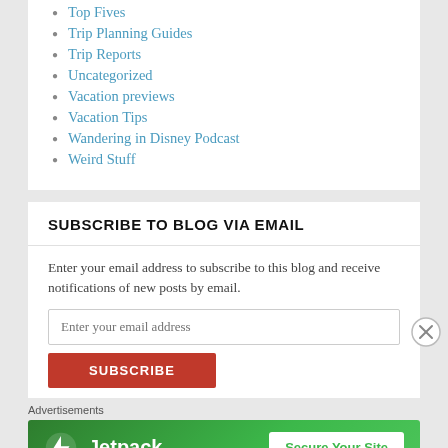Top Fives
Trip Planning Guides
Trip Reports
Uncategorized
Vacation previews
Vacation Tips
Wandering in Disney Podcast
Weird Stuff
SUBSCRIBE TO BLOG VIA EMAIL
Enter your email address to subscribe to this blog and receive notifications of new posts by email.
Enter your email address
SUBSCRIBE
Advertisements
[Figure (infographic): Jetpack advertisement banner with green background showing Jetpack logo and 'Secure Your Site' button]